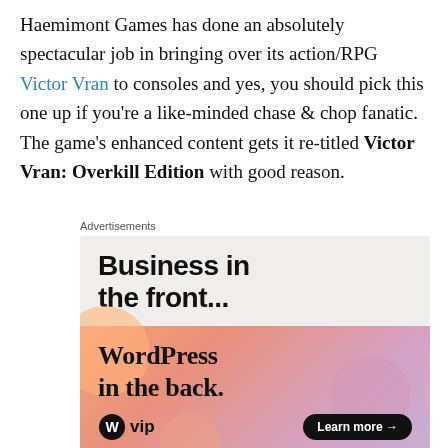Haemimont Games has done an absolutely spectacular job in bringing over its action/RPG Victor Vran to consoles and yes, you should pick this one up if you're a like-minded chase & chop fanatic. The game's enhanced content gets it re-titled Victor Vran: Overkill Edition with good reason.
Advertisements
[Figure (other): WordPress VIP advertisement. Top section on light beige background reads 'Business in the front...' in bold sans-serif. Bottom section on gradient orange-pink background reads 'WordPress in the back.' with WordPress logo (W in circle) and 'vip' text on left, and a 'Learn more →' button on the right.]